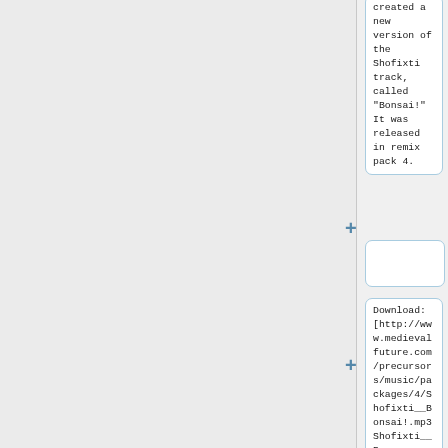created a new version of the Shofixti track, called "Bonsai!" It was released in remix pack 4.
Download: [http://www.medievalfuture.com/precursors/music/packages/4/Shofixti__Bonsai!.mp3 Shofixti__Bo